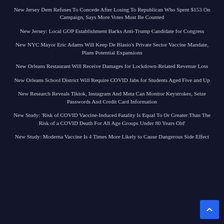New Jersey Dem Refuses To Concede After Losing To Republican Who Spent $153 On Campaign, Says More Votes Must Be Counted
New Jersey: Local GOP Establishment Backs Anti-Trump Candidate for Congress
New NYC Mayor Eric Adams Will Keep De Blasio's Private Sector Vaccine Mandate, Plans Potential Expansions
New Orleans Restaurant Will Receive Damages for Lockdown-Related Revenue Loss
New Orleans School District Will Require COVID Jabs for Students Aged Five and Up
New Research Reveals Tiktok, Instagram And Meta Can Monitor Keystrokes, Seize Passwords And Credit Card Information
New Study: 'Risk of COVID Vaccine-Induced Fatality Is Equal To Or Greater Than The Risk of a COVID Death For All Age Groups Under 80 Years Old'
New Study: Moderna Vaccine Is 4 Times More Likely to Cause Dangerous Side Effect